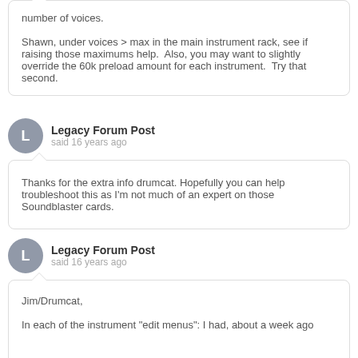number of voices.

Shawn, under voices > max in the main instrument rack, see if raising those maximums help.  Also, you may want to slightly override the 60k preload amount for each instrument.  Try that second.
Legacy Forum Post
said 16 years ago
Thanks for the extra info drumcat. Hopefully you can help troubleshoot this as I'm not much of an expert on those Soundblaster cards.
Legacy Forum Post
said 16 years ago
Jim/Drumcat,

In each of the instrument "edit menus": I had, about a week ago